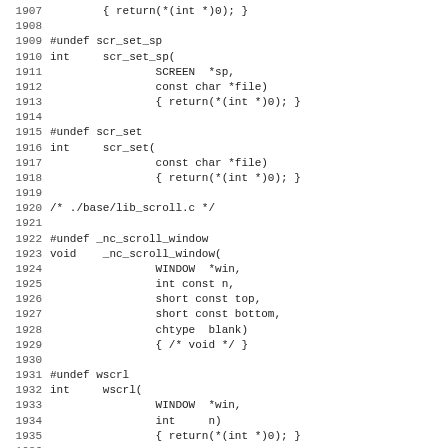C source code listing lines 1907-1939 showing function stubs for scr_set_sp, scr_set, _nc_scroll_window, wscrl, and the beginning of scrollok, with #undef macros and comments indicating source file origins.